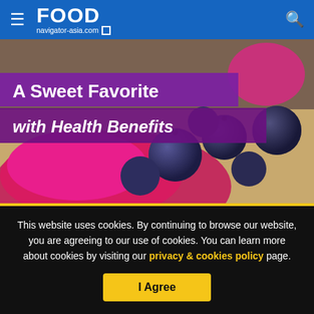FOOD navigator-asia.com
[Figure (photo): Promotional food image showing pink/magenta blueberry powder with fresh blueberries on a wooden surface. Text overlay reads 'A Sweet Favorite with Health Benefits'.]
This website uses cookies. By continuing to browse our website, you are agreeing to our use of cookies. You can learn more about cookies by visiting our privacy & cookies policy page.
I Agree